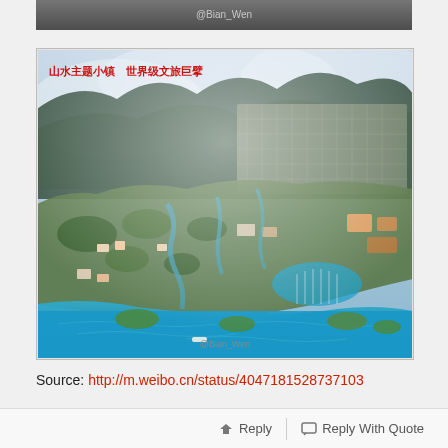[Figure (photo): Partial top crop of an aerial/bird's-eye view image with @Bian_Wen watermark]
[Figure (illustration): Aerial rendering of a large coastal resort/town development plan with Chinese text '山水主题小镇 世界级文旅巨擘' and @Bian_Wen watermark. Shows a peninsula or coastal strip with blue water, green forests, urban development, marina, and resort facilities.]
Source: http://m.weibo.cn/status/4047181528737103
Reply   Reply With Quote